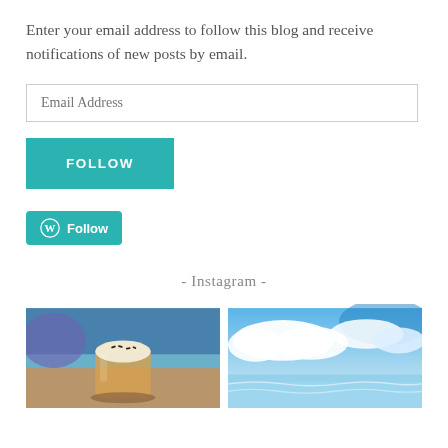Enter your email address to follow this blog and receive notifications of new posts by email.
[Figure (screenshot): Email address input field with placeholder text 'Email Address']
[Figure (screenshot): Teal FOLLOW button]
[Figure (screenshot): WordPress Follow button with logo]
- Instagram -
[Figure (photo): Instagram photo of a coffee drink (iced latte with foam and chocolate sprinkles) on a wooden table with blue ambient lighting in background]
[Figure (photo): Instagram photo of blue sky with white fluffy clouds and a turquoise ocean/water in the lower portion]